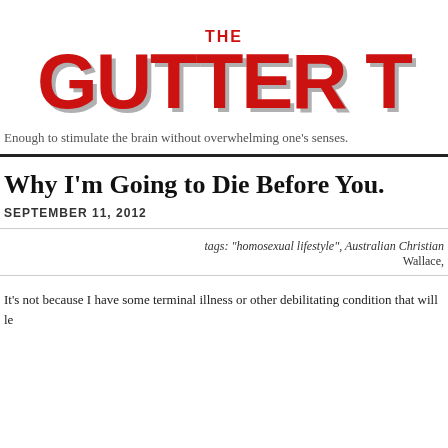THE GUTTER
Enough to stimulate the brain without overwhelming one's senses.
Why I'm Going to Die Before You.
SEPTEMBER 11, 2012
tags: "homosexual lifestyle", Australian Christian Wallace,
It's not because I have some terminal illness or other debilitating condition that will le